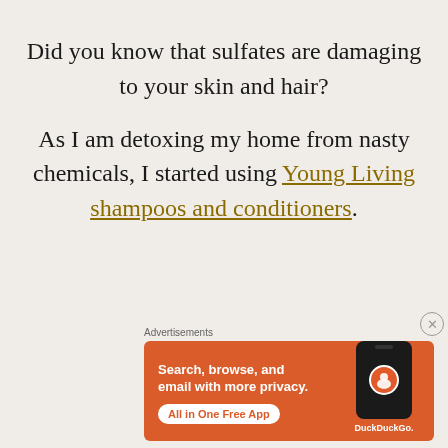Did you know that sulfates are damaging to your skin and hair?
As I am detoxing my home from nasty chemicals, I started using Young Living shampoos and conditioners.
Advertisements
[Figure (screenshot): DuckDuckGo advertisement banner on orange background. Text: 'Search, browse, and email with more privacy. All in One Free App'. Shows a smartphone with DuckDuckGo logo and brand name.]